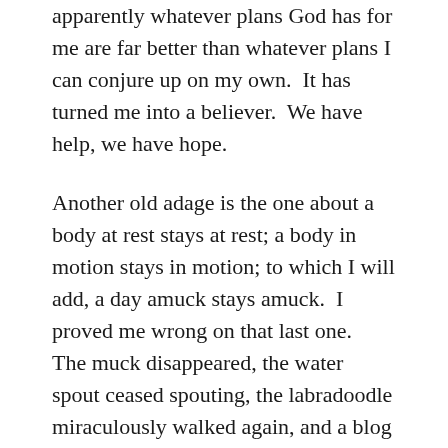apparently whatever plans God has for me are far better than whatever plans I can conjure up on my own.  It has turned me into a believer.  We have help, we have hope.
Another old adage is the one about a body at rest stays at rest; a body in motion stays in motion; to which I will add, a day amuck stays amuck.  I proved me wrong on that last one.  The muck disappeared, the water spout ceased spouting, the labradoodle miraculously walked again, and a blog was written.
My most current spirit-guide lesson suggests that I try to increase my awareness of the presence of helpers to see if I can discern the meaning which these spirits I believe they